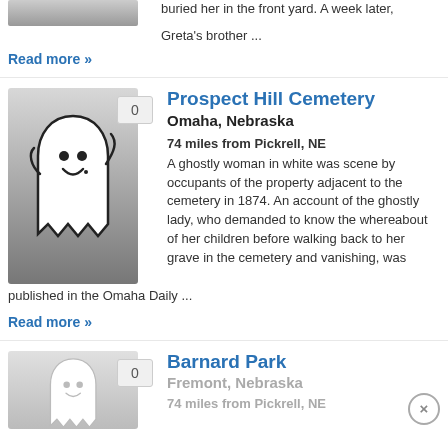[Figure (illustration): Partial ghost thumbnail at top of page (cropped)]
buried her in the front yard. A week later,
Greta's brother ...
Read more »
[Figure (illustration): Ghost cartoon illustration on grey gradient background with count badge showing 0]
Prospect Hill Cemetery
Omaha, Nebraska
74 miles from Pickrell, NE
A ghostly woman in white was scene by occupants of the property adjacent to the cemetery in 1874. An account of the ghostly lady, who demanded to know the whereabouts of her children before walking back to her grave in the cemetery and vanishing, was published in the Omaha Daily ...
Read more »
[Figure (illustration): Partial ghost cartoon thumbnail at bottom (cropped), with count badge showing 0]
Barnard Park
Fremont, Nebraska
74 miles from Pickrell, NE